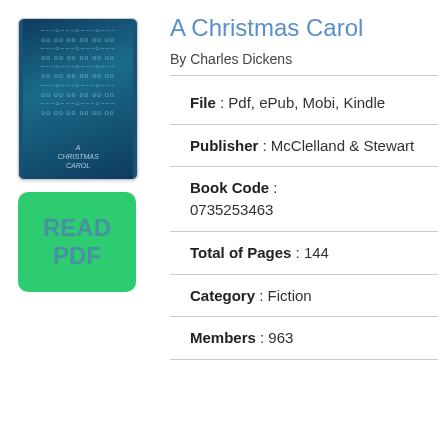[Figure (illustration): Book cover of A Christmas Carol with dark blue background and DNA-like pattern, titled A Christmas Carol at the bottom]
[Figure (other): Green rounded rectangle button with text READ PDF in blue]
A Christmas Carol
By Charles Dickens
File : Pdf, ePub, Mobi, Kindle
Publisher : McClelland & Stewart
Book Code : 0735253463
Total of Pages : 144
Category : Fiction
Members : 963